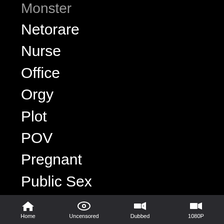Monster (clipped/partial)
Netorare
Nurse
Office
Orgy
Plot
POV
Pregnant
Public Sex
Rape
Raw
Reverse Rape
Rimjob
Rimming
Scat
Home  Uncensored  Dubbed  1080P